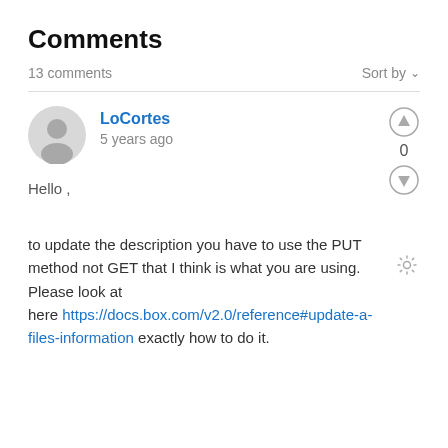Comments
13 comments
Sort by
LoCortes
5 years ago
Hello ,
to update the description you have to use the PUT method not GET that I think is what you are using. Please look at here https://docs.box.com/v2.0/reference#update-a-files-information exactly how to do it.